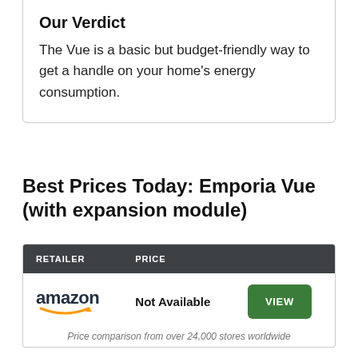Our Verdict
The Vue is a basic but budget-friendly way to get a handle on your home's energy consumption.
Best Prices Today: Emporia Vue (with expansion module)
| RETAILER | PRICE |  |
| --- | --- | --- |
| amazon | Not Available | VIEW |
Price comparison from over 24,000 stores worldwide